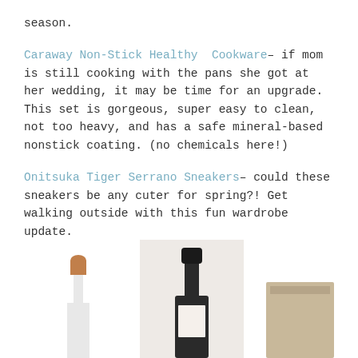season.
Caraway Non-Stick Healthy Cookware– if mom is still cooking with the pans she got at her wedding, it may be time for an upgrade. This set is gorgeous, super easy to clean, not too heavy, and has a safe mineral-based nonstick coating. (no chemicals here!)
Onitsuka Tiger Serrano Sneakers– could these sneakers be any cuter for spring?! Get walking outside with this fun wardrobe update.
[Figure (photo): Three product images at the bottom of the page: a wine bottle cork on the left, a wine bottle with black foil cap in the center on a light gray/beige background, and a brown box or package on the right.]